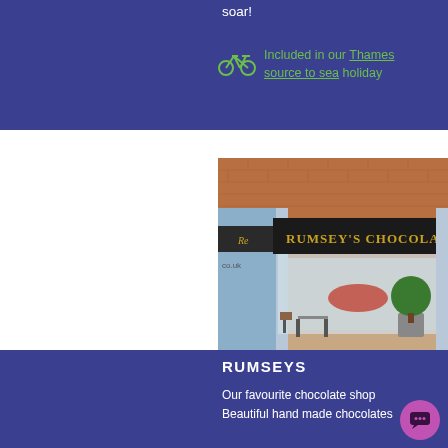soar!
Included in our Thames source to sea holiday
[Figure (photo): Exterior photo of Rumsey's Chocolaterie shop front with black awning, gold lettering, outdoor seating, and a topiary tree]
RUMSEYS
Our favourite chocolate shop
Beautiful hand made chocolates